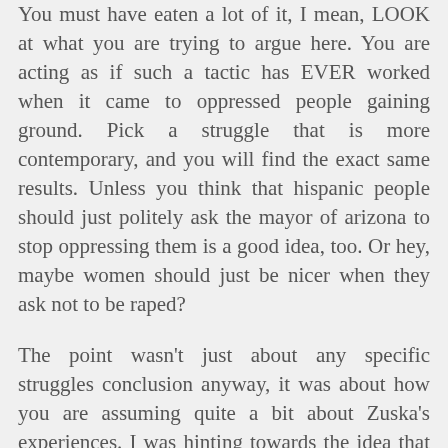You must have eaten a lot of it, I mean, LOOK at what you are trying to argue here. You are acting as if such a tactic has EVER worked when it came to oppressed people gaining ground. Pick a struggle that is more contemporary, and you will find the exact same results. Unless you think that hispanic people should just politely ask the mayor of arizona to stop oppressing them is a good idea, too. Or hey, maybe women should just be nicer when they ask not to be raped?
The point wasn't just about any specific struggles conclusion anyway, it was about how you are assuming quite a bit about Zuska's experiences. I was hinting towards the idea that she probably knows better than you about how to act when dealing with sexism, because she does it. It is the same as the idea that women struggling for rights don't need you to tell them to keep trying something that doesn't work. Women who deal with sexism know that it doesn't work to be polite- we are all socialized to please others our whole lives, so it isn't like this is a conclusion that